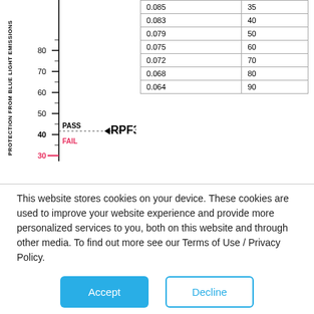[Figure (other): Vertical scale showing 'Protection from blue light emissions' with tick marks at 30, 40, 50, 60, 70, 80 and PASS/FAIL indicator at ~35 level, with RPF35 arrow marker. Dotted line at PASS threshold.]
|  |  |
| --- | --- |
| 0.085 | 35 |
| 0.083 | 40 |
| 0.079 | 50 |
| 0.075 | 60 |
| 0.072 | 70 |
| 0.068 | 80 |
| 0.064 | 90 |
This website stores cookies on your device. These cookies are used to improve your website experience and provide more personalized services to you, both on this website and through other media. To find out more see our Terms of Use / Privacy Policy.